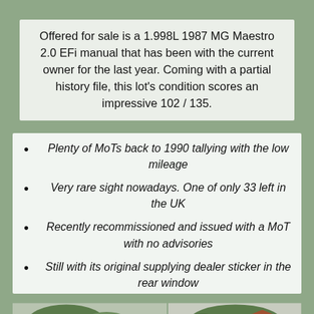Offered for sale is a 1.998L 1987 MG Maestro 2.0 EFi manual that has been with the current owner for the last year. Coming with a partial history file, this lot's condition scores an impressive 102 / 135.
Plenty of MoTs back to 1990 tallying with the low mileage
Very rare sight nowadays. One of only 33 left in the UK
Recently recommissioned and issued with a MoT with no advisories
Still with its original supplying dealer sticker in the rear window
[Figure (photo): Two photos of a white MG Maestro car, one showing the rear/side of the car in a driveway, another showing the car from a different angle with a house in the background.]